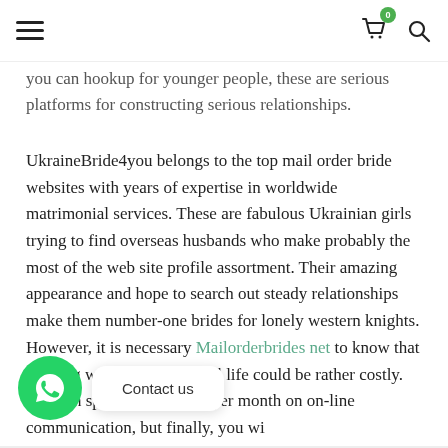[hamburger menu] [cart icon with badge 0] [search icon]
you can hookup for younger people, these are serious platforms for constructing serious relationships.
UkraineBride4you belongs to the top mail order bride websites with years of expertise in worldwide matrimonial services. These are fabulous Ukrainian girls trying to find overseas husbands who make probably the most of the web site profile assortment. Their amazing appearance and hope to search out steady relationships make them number-one brides for lonely western knights. However, it is necessary Mailorderbrides net to know that meeting with a date in actual life could be rather costly. You can spend round $100 per month on on-line communication, but finally, you wi...to h... date with your lady.
[Figure (other): WhatsApp contact button (green circle with phone icon) and Contact us speech bubble overlay]